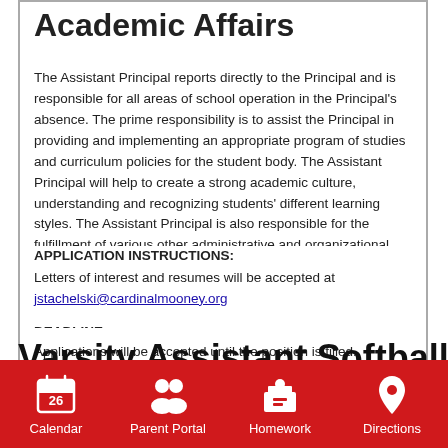Academic Affairs
The Assistant Principal reports directly to the Principal and is responsible for all areas of school operation in the Principal's absence. The prime responsibility is to assist the Principal in providing and implementing an appropriate program of studies and curriculum policies for the student body. The Assistant Principal will help to create a strong academic culture, understanding and recognizing students' different learning styles. The Assistant Principal is also responsible for the fulfillment of various other administrative and organizational functions.
APPLICATION INSTRUCTIONS:
Letters of interest and resumes will be accepted at jstachelski@cardinalmooney.org
DEADLINE:
Applications will be accepted until the position is filled.
Varsity Assistant Softball
Calendar  Parent Portal  Homework  Directions